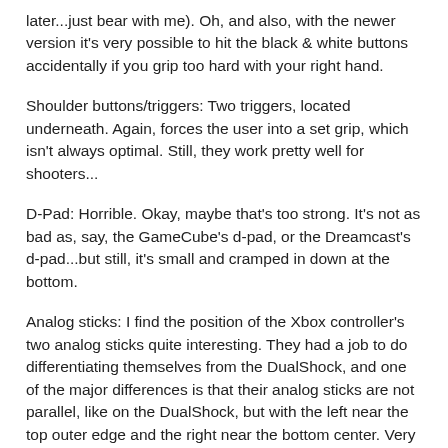later...just bear with me). Oh, and also, with the newer version it's very possible to hit the black & white buttons accidentally if you grip too hard with your right hand.
Shoulder buttons/triggers: Two triggers, located underneath. Again, forces the user into a set grip, which isn't always optimal. Still, they work pretty well for shooters...
D-Pad: Horrible. Okay, maybe that's too strong. It's not as bad as, say, the GameCube's d-pad, or the Dreamcast's d-pad...but still, it's small and cramped in down at the bottom.
Analog sticks: I find the position of the Xbox controller's two analog sticks quite interesting. They had a job to do differentiating themselves from the DualShock, and one of the major differences is that their analog sticks are not parallel, like on the DualShock, but with the left near the top outer edge and the right near the bottom center. Very different feel, but for games that rely a lot of analog stick movements (say, to aim the crosshairs for a FPS game), it's very handy to have the left analog stick, which is standard for movement (since the other hand's using the face buttons for